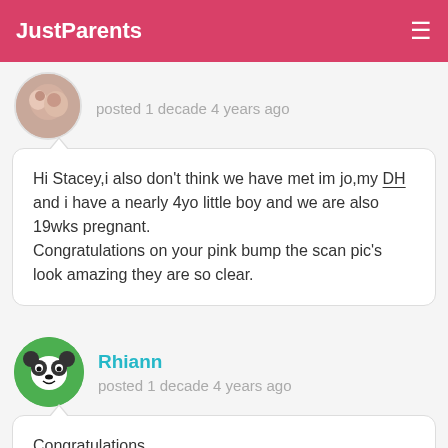JustParents
posted 1 decade 4 years ago
Hi Stacey,i also don't think we have met im jo,my DH and i have a nearly 4yo little boy and we are also 19wks pregnant.
Congratulations on your pink bump the scan pic's look amazing they are so clear.
Rhiann
posted 1 decade 4 years ago
Congratulations,